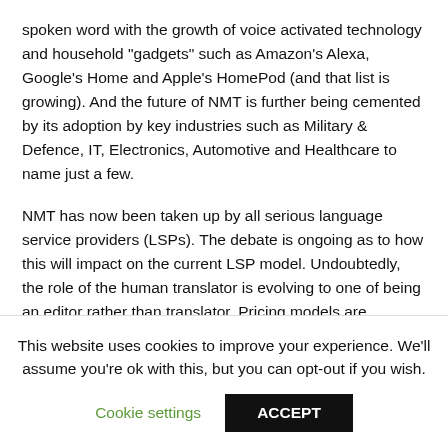spoken word with the growth of voice activated technology and household "gadgets" such as Amazon's Alexa, Google's Home and Apple's HomePod (and that list is growing). And the future of NMT is further being cemented by its adoption by key industries such as Military & Defence, IT, Electronics, Automotive and Healthcare to name just a few.
NMT has now been taken up by all serious language service providers (LSPs). The debate is ongoing as to how this will impact on the current LSP model. Undoubtedly, the role of the human translator is evolving to one of being an editor rather than translator. Pricing models are changing from the traditional price per word based on word volumes, to pricing on a time-measured rate. An expert at eBay has predicted that the traditional
This website uses cookies to improve your experience. We'll assume you're ok with this, but you can opt-out if you wish.
Cookie settings   ACCEPT